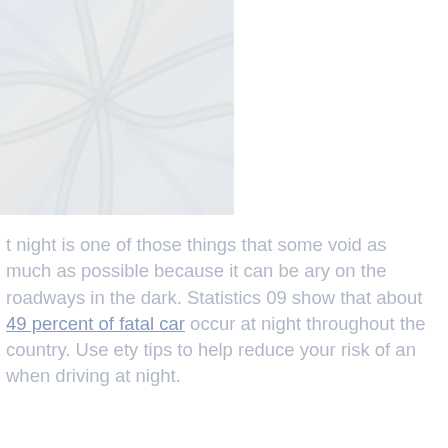[Figure (photo): Aerial view of a highway interchange at night or dusk, showing multiple freeway ramps and roads interweaving, faded/light washed-out appearance]
t night is one of those things that some void as much as possible because it can be ary on the roadways in the dark. Statistics 09 show that about 49 percent of fatal car occur at night throughout the country. Use ety tips to help reduce your risk of an when driving at night.